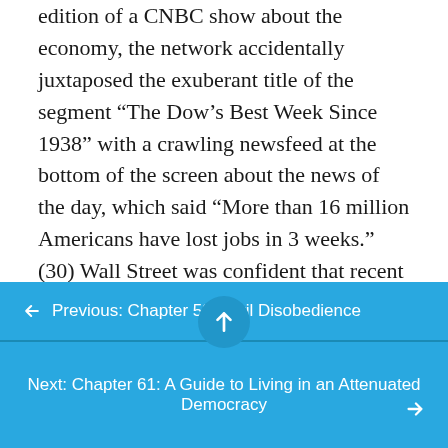edition of a CNBC show about the economy, the network accidentally juxtaposed the exuberant title of the segment “The Dow’s Best Week Since 1938” with a crawling newsfeed at the bottom of the screen about the news of the day, which said “More than 16 million Americans have lost jobs in 3 weeks.” (30) Wall Street was confident that recent stimulus packages heavily tilted to big business and financial institutions, quantitative easing, and low oil prices meant that they would weather the storm nicely. The high-flying investors had already priced the
← Previous: Chapter 59: Civil Disobedience
Next: Chapter 61: A Guide to Living in an Attenuated Democracy →